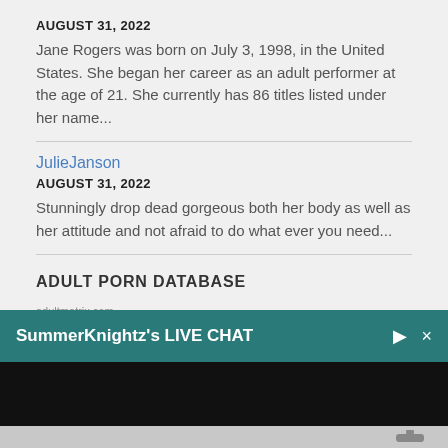AUGUST 31, 2022
Jane Rogers was born on July 3, 1998, in the United States. She began her career as an adult performer at the age of 21. She currently has 86 titles listed under her name...
JulieJanson
AUGUST 31, 2022
Stunningly drop dead gorgeous both her body as well as her attitude and not afraid to do what ever you need...
ADULT PORN DATABASE
adultmatrix.com allpornsitespass.com amateur anal anallivecams.com anal sex Asian ass bald pussy big boobs big cock big tits b... cock riding...
[Figure (screenshot): SummerKnightz's LIVE CHAT overlay bar in teal/dark green with mute and close icons]